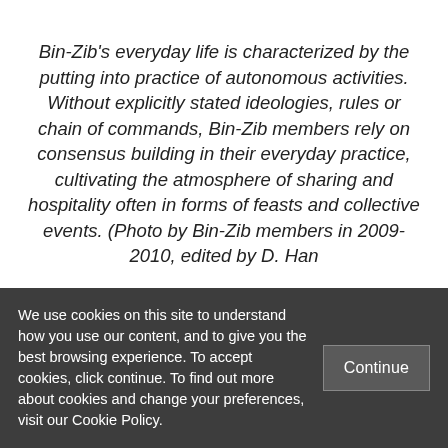Bin-Zib's everyday life is characterized by the putting into practice of autonomous activities. Without explicitly stated ideologies, rules or chain of commands, Bin-Zib members rely on consensus building in their everyday practice, cultivating the atmosphere of sharing and hospitality often in forms of feasts and collective events. (Photo by Bin-Zib members in 2009-2010, edited by D. Han
We use cookies on this site to understand how you use our content, and to give you the best browsing experience. To accept cookies, click continue. To find out more about cookies and change your preferences, visit our Cookie Policy.